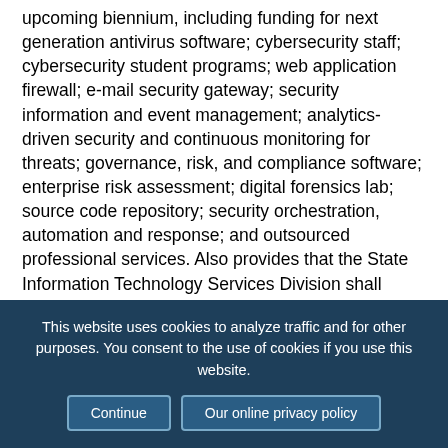upcoming biennium, including funding for next generation antivirus software; cybersecurity staff; cybersecurity student programs; web application firewall; e-mail security gateway; security information and event management; analytics-driven security and continuous monitoring for threats; governance, risk, and compliance software; enterprise risk assessment; digital forensics lab; source code repository; security orchestration, automation and response; and outsourced professional services. Also provides that the State Information Technology Services Division shall report to the legislative finance committee quarterly on the Montana Cybersecurity Enhancement Project.
MT H 205
This website uses cookies to analyze traffic and for other purposes. You consent to the use of cookies if you use this website. Continue | Our online privacy policy